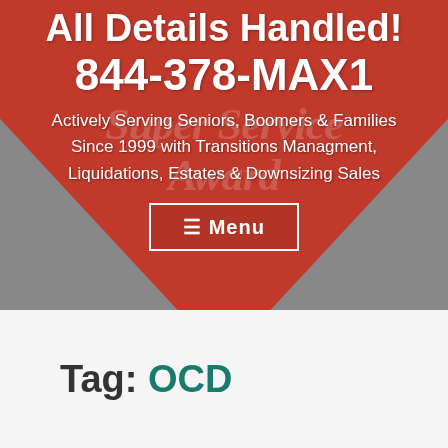[Figure (photo): Website screenshot header banner with red heart-shaped background featuring Super Service Award watermark, white text overlaid with phone number and description, and a menu button]
All Details Handled! 844-378-MAX1
Actively Serving Seniors, Boomers & Families Since 1999 with Transitions Managment, Liquidations, Estates & Downsizing Sales
☰ Menu
Tag: OCD